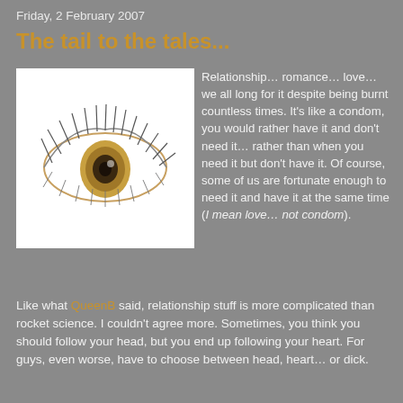Friday, 2 February 2007
The tail to the tales...
[Figure (illustration): Close-up illustration of an eye with detailed eyelashes, showing a golden/amber iris with dark pupil, white background]
Relationship… romance… love… we all long for it despite being burnt countless times. It's like a condom, you would rather have it and don't need it… rather than when you need it but don't have it. Of course, some of us are fortunate enough to need it and have it at the same time (I mean love… not condom).
Like what QueenB said, relationship stuff is more complicated than rocket science. I couldn't agree more. Sometimes, you think you should follow your head, but you end up following your heart. For guys, even worse, have to choose between head, heart… or dick.